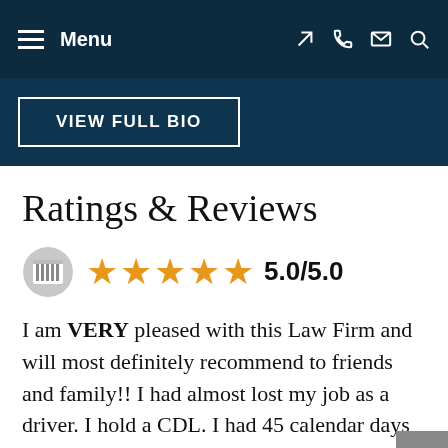Menu
VIEW FULL BIO
Ratings & Reviews
[Figure (other): Star rating: 5 orange stars with score 5.0/5.0 and a Avvo-style icon]
I am VERY pleased with this Law Firm and will most definitely recommend to friends and family!! I had almost lost my job as a driver. I hold a CDL. I had 45 calendar days to get it resolved in which